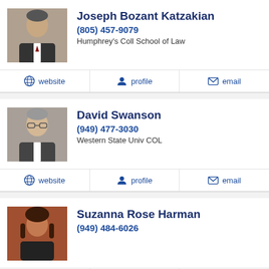[Figure (photo): Headshot photo of Joseph Bozant Katzakian, man in dark suit]
Joseph Bozant Katzakian
(805) 457-9079
Humphrey's Coll School of Law
website | profile | email
[Figure (photo): Headshot photo of David Swanson, older man with glasses]
David Swanson
(949) 477-3030
Western State Univ COL
website | profile | email
[Figure (photo): Headshot photo of Suzanna Rose Harman, woman with dark hair]
Suzanna Rose Harman
(949) 484-6026
website | profile | email